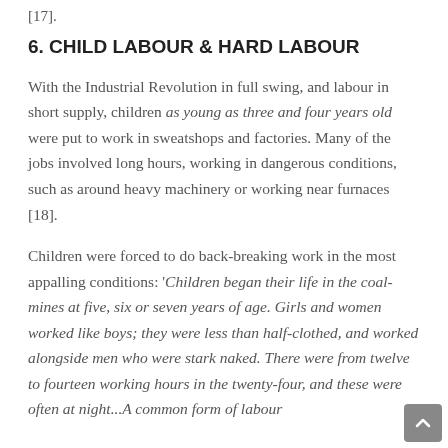[17].
6. CHILD LABOUR & HARD LABOUR
With the Industrial Revolution in full swing, and labour in short supply, children as young as three and four years old were put to work in sweatshops and factories. Many of the jobs involved long hours, working in dangerous conditions, such as around heavy machinery or working near furnaces [18].
Children were forced to do back-breaking work in the most appalling conditions: 'Children began their life in the coal-mines at five, six or seven years of age. Girls and women worked like boys; they were less than half-clothed, and worked alongside men who were stark naked. There were from twelve to fourteen working hours in the twenty-four, and these were often at night...A common form of labour